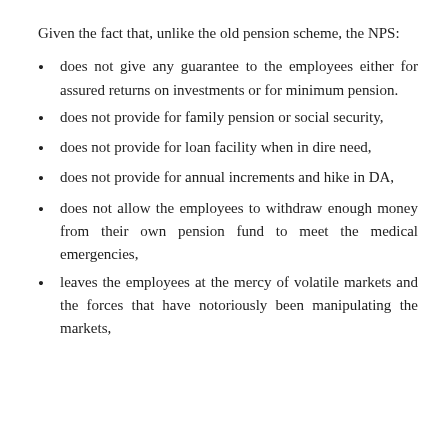Given the fact that, unlike the old pension scheme, the NPS:
does not give any guarantee to the employees either for assured returns on investments or for minimum pension.
does not provide for family pension or social security,
does not provide for loan facility when in dire need,
does not provide for annual increments and hike in DA,
does not allow the employees to withdraw enough money from their own pension fund to meet the medical emergencies,
leaves the employees at the mercy of volatile markets and the forces that have notoriously been manipulating the markets,